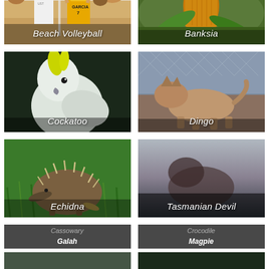[Figure (photo): Beach volleyball players at a net, player with GARCIA jersey visible, crowd in background. Label: Beach Volleyball]
[Figure (photo): Close-up of a Banksia flower (orange/yellow spiky bloom) with green foliage. Label: Banksia]
[Figure (photo): White Cockatoo with yellow crest against dark background. Label: Cockatoo]
[Figure (photo): A Dingo near a chain-link fence on sandy ground. Label: Dingo]
[Figure (photo): An Echidna on green grass. Label: Echidna]
[Figure (photo): Tasmanian Devil image, mostly grey/dark. Label: Tasmanian Devil]
[Figure (photo): Partial view of Cassowary and Galah images at bottom, partially cropped]
[Figure (photo): Partial view of Crocodile and Magpie images at bottom, partially cropped]
[Figure (photo): Bottom row left photo, partially visible]
[Figure (photo): Bottom row right photo, partially visible]